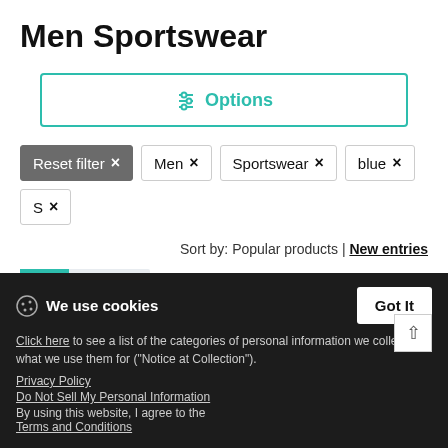Men Sportswear
Options
Reset filter ×
Men ×
Sportswear ×
blue ×
S ×
Sort by: Popular products | New entries
Men's Performance Sleeveless Shirt
S–2XL & 3 Colors
★★★★½ (5)
We use cookies
Click here to see a list of the categories of personal information we collect and what we use them for ("Notice at Collection").
Privacy Policy
Do Not Sell My Personal Information
By using this website, I agree to the Terms and Conditions